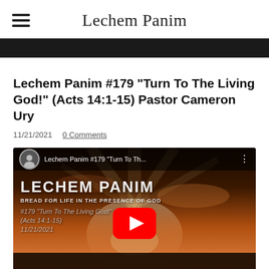Lechem Panim
Lechem Panim #179 “Turn To The Living God!” (Acts 14:1-15) Pastor Cameron Ury
11/21/2021  0 Comments
[Figure (screenshot): YouTube video thumbnail for Lechem Panim #179 'Turn To The Living God!' (Acts 14:1-15) 11/21/2021, showing a sunset sky background with the Lechem Panim logo and a red YouTube play button in the center.]